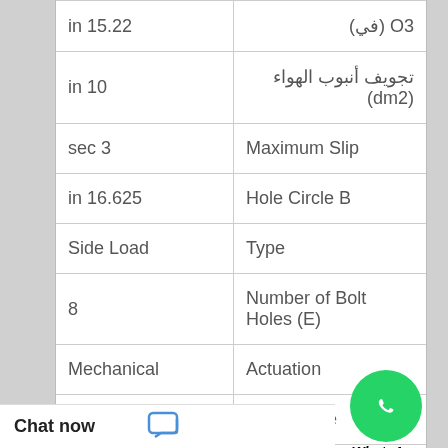| in 15.22 | O3 (في) |
| in 10 | تجويف أنبوب الهواء (dm2) |
| sec 3 | Maximum Slip |
| in 16.625 | Hole Circle B |
| Side Load | Type |
| 8 | Number of Bolt Holes (E) |
| Mechanical | Actuation |
| Flat "15-1/2 | Clutch Size |
| lbin; 2237 N 19800 | Torque1 |
| in 15/32 | Bolt Hole Diameter E |
[Figure (logo): WhatsApp Online logo with green phone icon circle and text 'WhatsApp Online']
Chat now